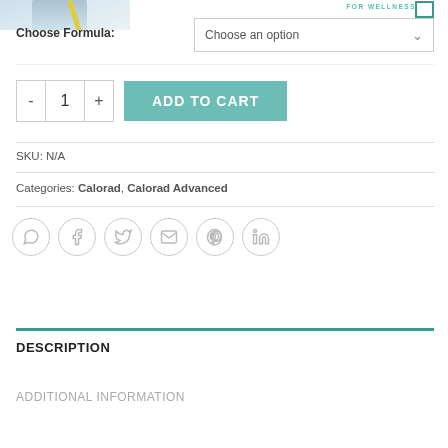[Figure (photo): Partial image of a person in casual/athletic clothing, cropped at top of page]
Choose Formula:
Choose an option
- 1 + ADD TO CART
SKU: N/A
Categories: Calorad, Calorad Advanced
[Figure (infographic): Row of six social sharing icons: WhatsApp, Facebook, Twitter, Email, Pinterest, LinkedIn]
DESCRIPTION
ADDITIONAL INFORMATION